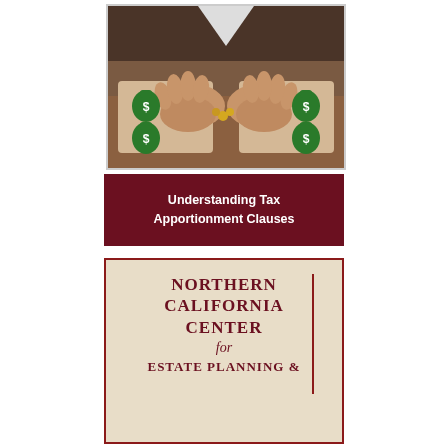[Figure (photo): Photograph of a person's hands holding puzzle pieces with money bag icons featuring dollar signs, arranged on a wooden surface. The person wearing a suit jacket is assembling puzzle pieces that have green money bags printed on them.]
Understanding Tax Apportionment Clauses
[Figure (logo): Logo image showing 'NORTHERN CALIFORNIA CENTER for ESTATE PLANNING &' text in dark red serif font on a beige/parchment colored background with a dark red vertical bar on the right side.]